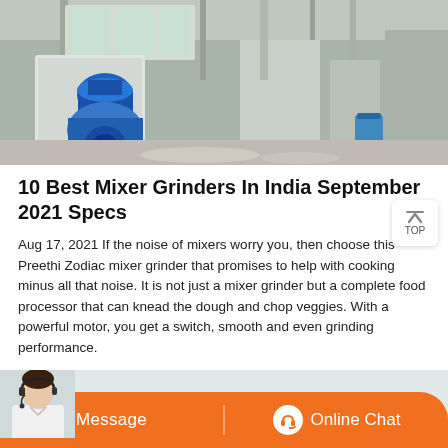[Figure (photo): Industrial factory floor with mixer/grinder machinery, blue motor unit in foreground, steel equipment in background]
10 Best Mixer Grinders In India September 2021 Specs
Aug 17, 2021 If the noise of mixers worry you, then choose this Preethi Zodiac mixer grinder that promises to help with cooking minus all that noise. It is not just a mixer grinder but a complete food processor that can knead the dough and chop veggies. With a powerful motor, you get a switch, smooth and even grinding performance.
[Figure (screenshot): Bottom banner with customer service representative photo on left and orange bar with Message and Online Chat buttons]